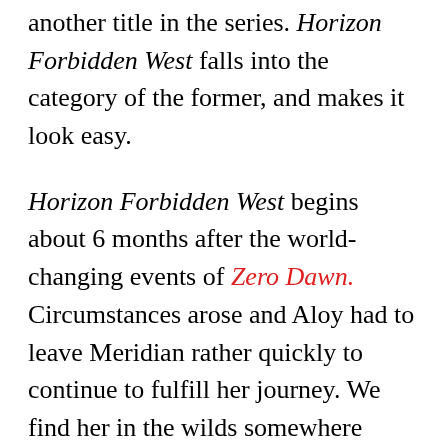another title in the series. Horizon Forbidden West falls into the category of the former, and makes it look easy.
Horizon Forbidden West begins about 6 months after the world-changing events of Zero Dawn. Circumstances arose and Aloy had to leave Meridian rather quickly to continue to fulfill her journey. We find her in the wilds somewhere while she is searching for a backup to the GAIA program that she was introduced to in the previous entry. She is met by a familiar face from Zero Dawn and the two delve further into the ancient ruins of